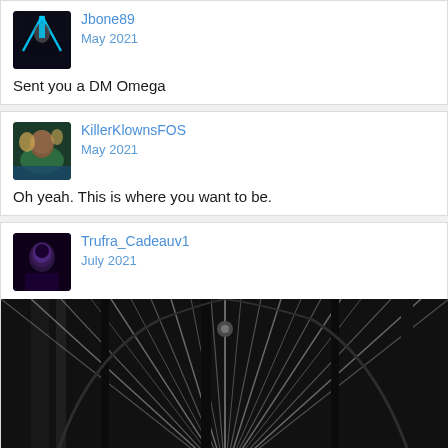Jbone89
May 2021
Sent you a DM Omega
KillerKlownsFOS
May 2021
Oh yeah. This is where you want to be.
Trufra_Cadeauv1
July 2021
[Figure (photo): Black and white photo of a circular architectural structure with radiating streaks of light, viewed from below]